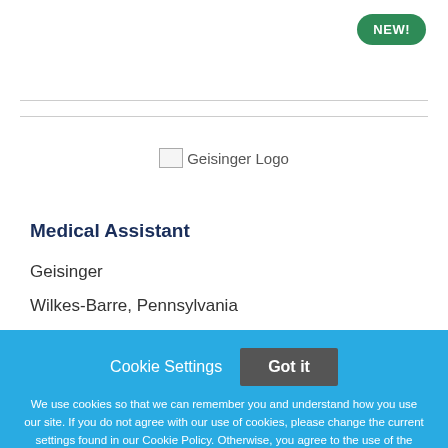[Figure (logo): Geisinger Logo placeholder image]
Medical Assistant
Geisinger
Wilkes-Barre, Pennsylvania
Cookie Settings  Got it
We use cookies so that we can remember you and understand how you use our site. If you do not agree with our use of cookies, please change the current settings found in our Cookie Policy. Otherwise, you agree to the use of the cookies as they are currently set.